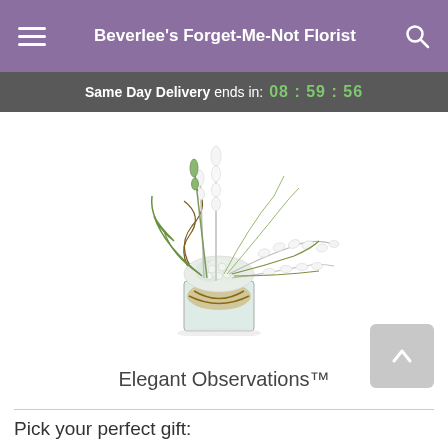Beverlee's Forget-Me-Not Florist
Same Day Delivery ends in: 08 : 59 : 56
[Figure (photo): A floral arrangement called Elegant Observations featuring white flowers including hydrangeas, dendrobium orchids, and tall white snapdragons with green foliage, arranged in a clear glass cube vase with decorative curly willow branches.]
Elegant Observations™
Pick your perfect gift: